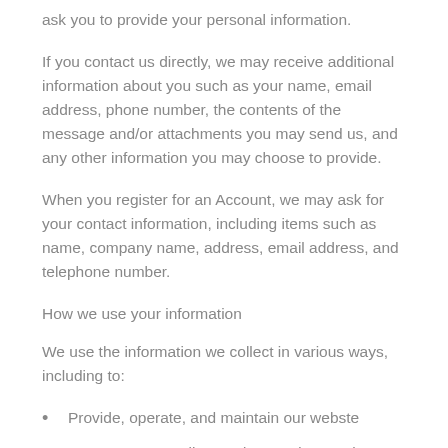ask you to provide your personal information.
If you contact us directly, we may receive additional information about you such as your name, email address, phone number, the contents of the message and/or attachments you may send us, and any other information you may choose to provide.
When you register for an Account, we may ask for your contact information, including items such as name, company name, address, email address, and telephone number.
How we use your information
We use the information we collect in various ways, including to:
Provide, operate, and maintain our webste
Improve, personalize, and expand our webste
Understand and analyze how you use our webste